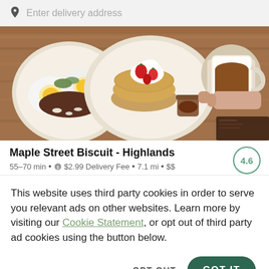Enter delivery address
[Figure (photo): Overhead photo of breakfast food including fried eggs, pancakes with whipped cream and strawberries, and a cup of coffee on a wooden table]
Maple Street Biscuit - Highlands
55-70 min • $2.99 Delivery Fee • 7.1 mi • $$
This website uses third party cookies in order to serve you relevant ads on other websites. Learn more by visiting our Cookie Statement, or opt out of third party ad cookies using the button below.
OPT OUT
GOT IT